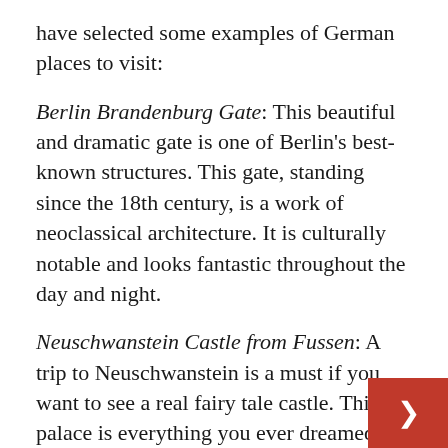have selected some examples of German places to visit:
Berlin Brandenburg Gate: This beautiful and dramatic gate is one of Berlin's best-known structures. This gate, standing since the 18th century, is a work of neoclassical architecture. It is culturally notable and looks fantastic throughout the day and night.
Neuschwanstein Castle from Fussen: A trip to Neuschwanstein is a must if you want to see a real fairy tale castle. This palace is everything you ever dreamed of and more. Its multiple castles and turrets, backed by deep lush forests, look like something out of a Disney picture.
Bavarian Königssee: Königssee is one of the most beautiful places in Germany for nature lovers. This Bavarian lake...